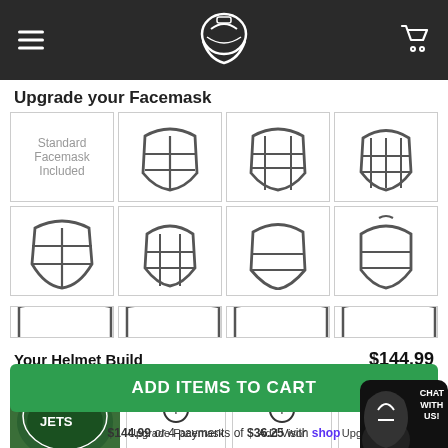Navigation header with menu, logo, cart
Upgrade your Facemask
[Figure (screenshot): Grid of football facemask options: 4 columns x 3 rows, first cell says 'Standard Facemask Included', rest show facemask icons]
Your Helmet Build  $144.99
[Figure (screenshot): Jets football helmet photo with Upgrade Facemask, Add Visor, Upgrade Chinstrap buttons]
ADD ITEMS TO CART
$144.99 or 4 payments of $36.25 with shop